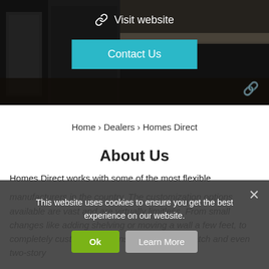[Figure (photo): Dark kitchen interior photo used as hero background with dark overlay]
Visit website
Contact Us
Home › Dealers › Homes Direct
About Us
Homes Direct works with some of the most flexible manufacturers in the country. The customization options available are vast and are virtually limitless. From small changes like adding shelving or moving a wall a few feet, to completely custom floor plans started from scratch and even two-story
This website uses cookies to ensure you get the best experience on our website.
Ok
Learn More